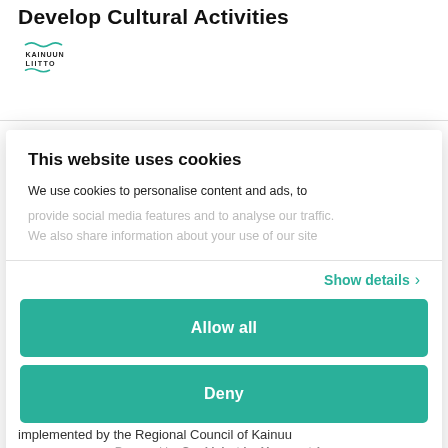Develop Cultural Activities
[Figure (logo): Kainuun Liitto logo with wavy teal lines and text]
This website uses cookies
We use cookies to personalise content and ads, to provide social media features and to analyse our traffic. We also share information about your use of our site
Show details
Allow all
Deny
Powered by Cookiebot by Usercentrics
implemented by the Regional Council of Kainuu